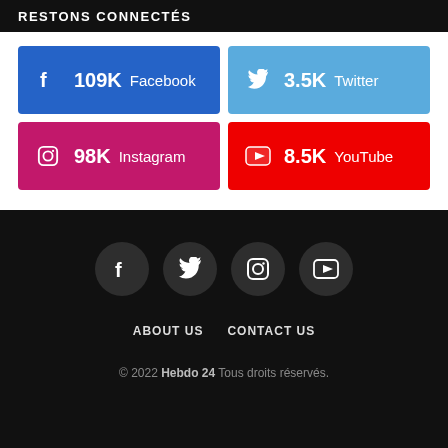RESTONS CONNECTÉS
[Figure (infographic): Social media follower counts: Facebook 109K (blue), Twitter 3.5K (light blue), Instagram 98K (pink/magenta), YouTube 8.5K (red)]
[Figure (infographic): Footer social icon circles: Facebook, Twitter, Instagram, YouTube]
ABOUT US   CONTACT US
© 2022 Hebdo 24 Tous droits réservés.